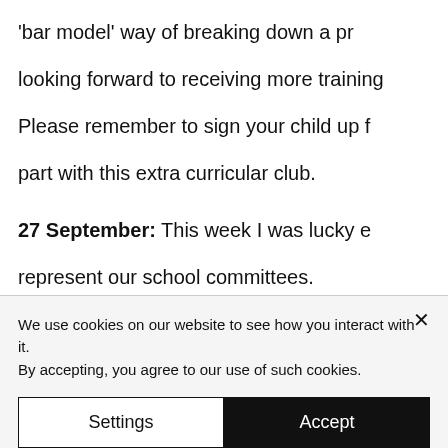'bar model' way of breaking down a problem. We are looking forward to receiving more training in this area. Please remember to sign your child up for and take part with this extra curricular club.
27 September: This week I was lucky enough to represent our school committees. We arrived and joined in straight away with 'Each Child'. They showed us this lesson through which pupils took on a role as a refugee and were deciding basic human rights and the power to share equally
We use cookies on our website to see how you interact with it. By accepting, you agree to our use of such cookies.